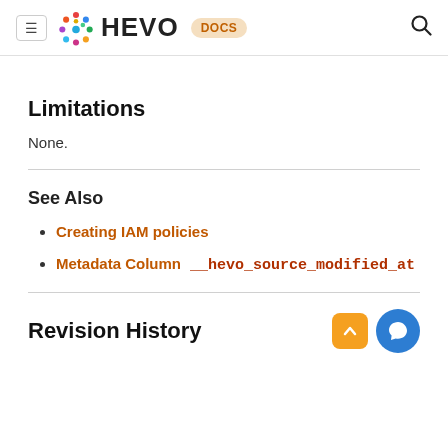≡  HEVO  DOCS  🔍
Limitations
None.
See Also
Creating IAM policies
Metadata Column  __hevo_source_modified_at
Revision History